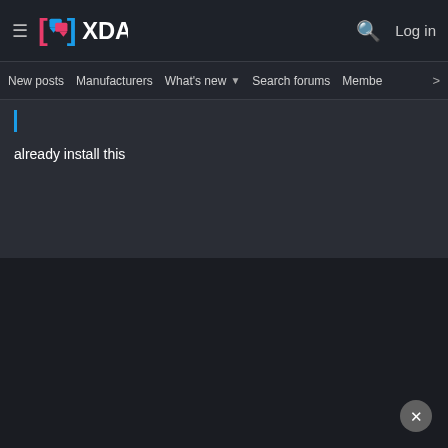XDA Developers - New posts | Manufacturers | What's new | Search forums | Members | Log in
already install this
[Figure (screenshot): Dark area with close button (X) in bottom-right corner]
[Figure (screenshot): Light grey advertisement area at bottom]